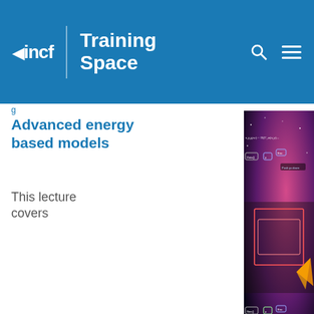[Figure (logo): INCF Training Space logo — white text on blue header bar with search and hamburger menu icons]
Advanced energy based models
This lecture covers
[Figure (screenshot): Video thumbnail showing a lecturer with neural network diagrams and mathematical formula overlaid on a space background]
advanced concepts of energy based models. The lecture is
We use cookies on this site to enhance your user experience
By clicking any link or button on the website the visitor accepts the cookie policy. More info
Accept
No, thanks